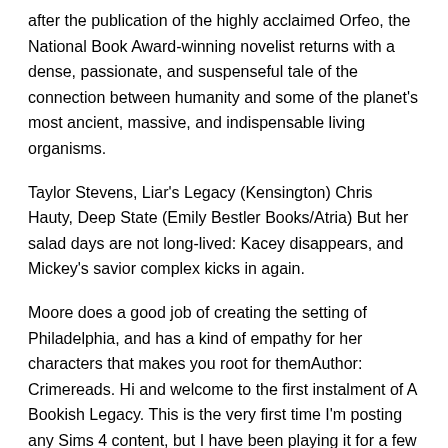after the publication of the highly acclaimed Orfeo, the National Book Award-winning novelist returns with a dense, passionate, and suspenseful tale of the connection between humanity and some of the planet's most ancient, massive, and indispensable living organisms.
Taylor Stevens, Liar's Legacy (Kensington) Chris Hauty, Deep State (Emily Bestler Books/Atria) But her salad days are not long-lived: Kacey disappears, and Mickey's savior complex kicks in again.
Moore does a good job of creating the setting of Philadelphia, and has a kind of empathy for her characters that makes you root for themAuthor: Crimereads. Hi and welcome to the first instalment of A Bookish Legacy. This is the very first time I'm posting any Sims 4 content, but I have been playing it for a few years now.
I started this legacy challenge a few years back as well, and I've been playing it on and off ever since. The Liaden universe (/ l iː ˈ eɪ d ɛ n / lee-AY-den or / l iː ˈ eɪ d ən /) is the setting for an ongoing series of science fiction stories written by Sharon Lee and Steve series covers a considerable time period, some thousands of years in all, although